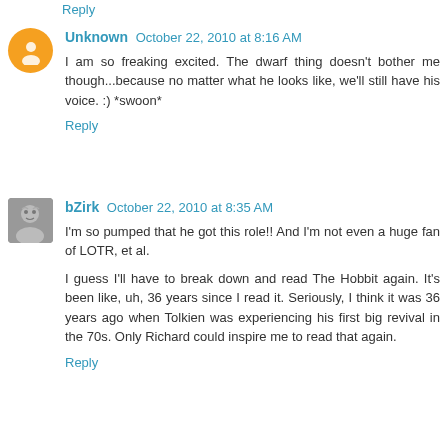Reply
Unknown  October 22, 2010 at 8:16 AM
I am so freaking excited. The dwarf thing doesn't bother me though...because no matter what he looks like, we'll still have his voice. :) *swoon*
Reply
bZirk  October 22, 2010 at 8:35 AM
I'm so pumped that he got this role!! And I'm not even a huge fan of LOTR, et al.

I guess I'll have to break down and read The Hobbit again. It's been like, uh, 36 years since I read it. Seriously, I think it was 36 years ago when Tolkien was experiencing his first big revival in the 70s. Only Richard could inspire me to read that again.
Reply